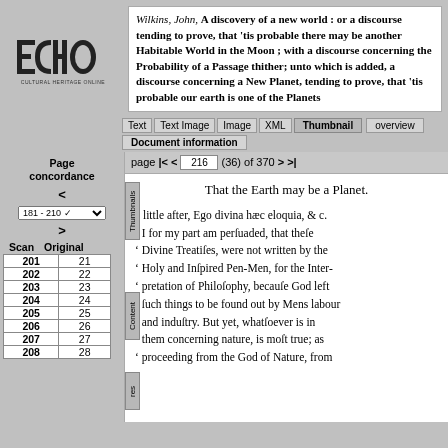[Figure (logo): ECHO Cultural Heritage Online logo]
Wilkins, John, A discovery of a new world : or a discourse tending to prove, that 'tis probable there may be another Habitable World in the Moon ; with a discourse concerning the Probability of a Passage thither; unto which is added, a discourse concerning a New Planet, tending to prove, that 'tis probable our earth is one of the Planets
Text | Text Image | Image | XML | Thumbnail | overview | Document information
page |< < 216 (36) of 370 > >|
Page concordance
| Scan | Original |
| --- | --- |
| 201 | 21 |
| 202 | 22 |
| 203 | 23 |
| 204 | 24 |
| 205 | 25 |
| 206 | 26 |
| 207 | 27 |
| 208 | 28 |
That the Earth may be a Planet.
a little after, Ego divina hæc eloquia, & c.
' I for my part am perſuaded, that theſe
' Divine Treatiſes, were not written by the
' Holy and Inſpired Pen-Men, for the Inter-
' pretation of Philoſophy, becauſe God left
' ſuch things to be found out by Mens labour
' and induſtry. But yet, whatſoever is in
' them concerning nature, is moſt true; as
' proceeding from the God of Nature, from